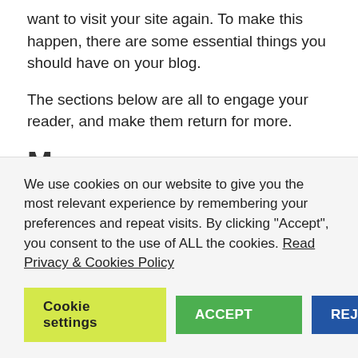want to visit your site again. To make this happen, there are some essential things you should have on your blog.
The sections below are all to engage your reader, and make them return for more.
Menu
Always make sure you have at least one menu on your site, and preferably at the top of your blog, where visitors can instantly see it. Now you have to find a good balance
We use cookies on our website to give you the most relevant experience by remembering your preferences and repeat visits. By clicking "Accept", you consent to the use of ALL the cookies. Read Privacy & Cookies Policy
Cookie settings   ACCEPT   REJECT